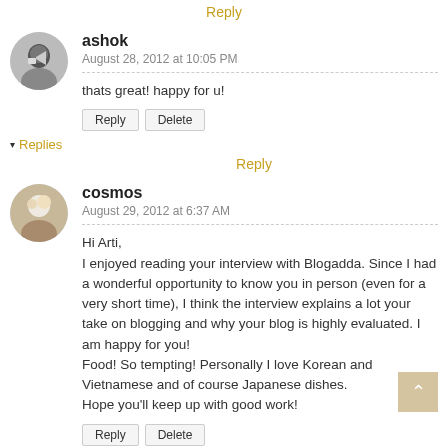Reply
ashok
August 28, 2012 at 10:05 PM
thats great! happy for u!
Reply  Delete
▾ Replies
Reply
cosmos
August 29, 2012 at 6:37 AM
Hi Arti,
I enjoyed reading your interview with Blogadda. Since I had a wonderful opportunity to know you in person (even for a very short time), I think the interview explains a lot your take on blogging and why your blog is highly evaluated. I am happy for you!
Food! So tempting! Personally I love Korean and Vietnamese and of course Japanese dishes.
Hope you'll keep up with good work!
Reply  Delete
▾ Replies
Reply